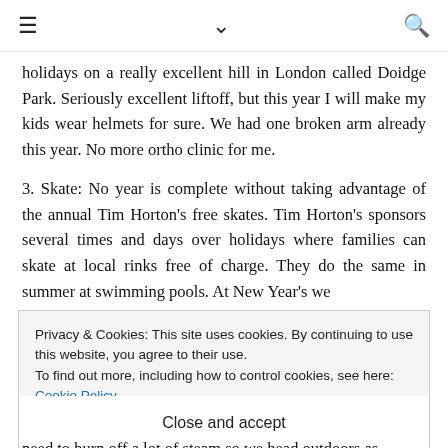≡ ∨ 🔍
holidays on a really excellent hill in London called Doidge Park. Seriously excellent liftoff, but this year I will make my kids wear helmets for sure. We had one broken arm already this year. No more ortho clinic for me.
3. Skate: No year is complete without taking advantage of the annual Tim Horton's free skates. Tim Horton's sponsors several times and days over holidays where families can skate at local rinks free of charge. They do the same in summer at swimming pools. At New Year's we
Privacy & Cookies: This site uses cookies. By continuing to use this website, you agree to their use.
To find out more, including how to control cookies, see here: Cookie Policy
Close and accept
need to burn off a lot of steam so we head outdoors as